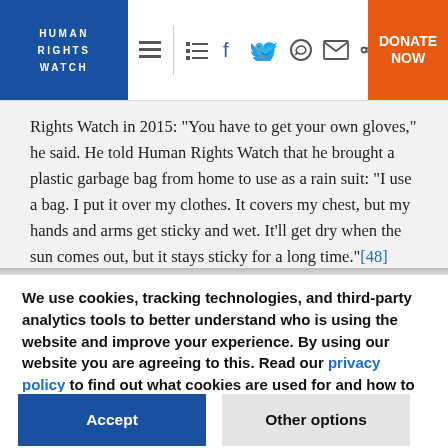HUMAN RIGHTS WATCH | Navigation bar with social icons and DONATE NOW button
Rights Watch in 2015: “You have to get your own gloves,” he said. He told Human Rights Watch that he brought a plastic garbage bag from home to use as a rain suit: “I use a bag. I put it over my clothes. It covers my chest, but my hands and arms get sticky and wet. It’ll get dry when the sun comes out, but it stays sticky for a long time.”[48]
We use cookies, tracking technologies, and third-party analytics tools to better understand who is using the website and improve your experience. By using our website you are agreeing to this. Read our privacy policy to find out what cookies are used for and how to change your settings.
Accept | Other options